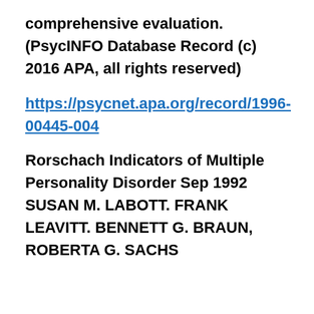comprehensive evaluation. (PsycINFO Database Record (c) 2016 APA, all rights reserved)
https://psycnet.apa.org/record/1996-00445-004
Rorschach Indicators of Multiple Personality Disorder Sep 1992 SUSAN M. LABOTT. FRANK LEAVITT. BENNETT G. BRAUN, ROBERTA G. SACHS